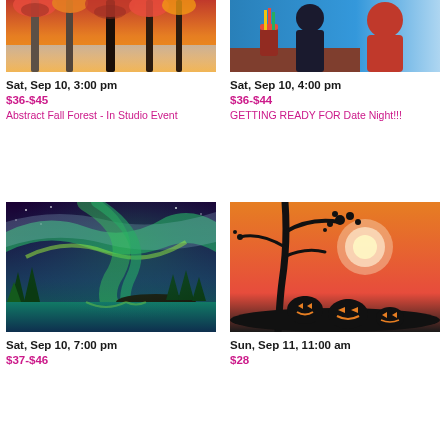[Figure (illustration): Painting of abstract fall forest with orange and red foliage, birch trees, partially cropped at top]
Sat, Sep 10, 3:00 pm
$36-$45
Abstract Fall Forest - In Studio Event
[Figure (illustration): Painting of a couple on a date, restaurant scene, partially cropped at top]
Sat, Sep 10, 4:00 pm
$36-$44
GETTING READY FOR Date Night!!!
[Figure (illustration): Painting of aurora borealis (northern lights) over a lake with pine trees]
Sat, Sep 10, 7:00 pm
$37-$46
[Figure (illustration): Halloween painting with orange sunset background, silhouette of a tree and three jack-o-lanterns]
Sun, Sep 11, 11:00 am
$28